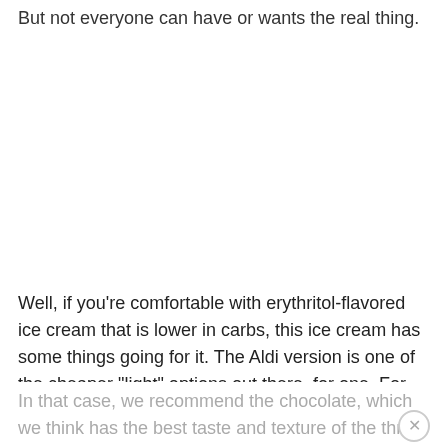But not everyone can have or wants the real thing. What then?
[Figure (photo): White/blank image area in the middle of the page]
Well, if you’re comfortable with erythritol-flavored ice cream that is lower in carbs, this ice cream has some things going for it. The Aldi version is one of the cheaper “light” options out there, for one. For another, you do have some flavor options.
In that case, we recommend the chocolate, which we think has the best taste and texture of the three